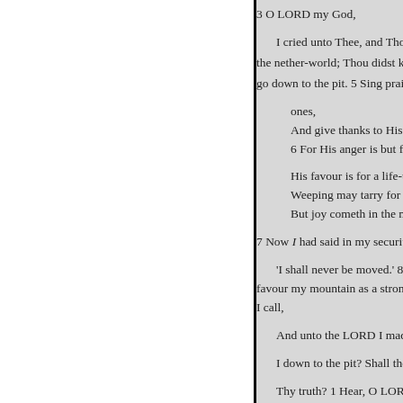3 O LORD my God,

    I cried unto Thee, and Thou di
the nether-world; Thou didst kee
go down to the pit. 5 Sing praise

        ones,
        And give thanks to His ho
        6 For His anger is but for a

        His favour is for a life-time
        Weeping may tarry for the n
        But joy cometh in the morn

7 Now I had said in my security:

    'I shall never be moved.' 8 Tho
favour my mountain as a strongh
I call,

    And unto the LORD I made su

    I down to the pit? Shall the du

    Thy truth? 1 Hear, O LORD, a
LORD, be Thou my helper.' 1 2